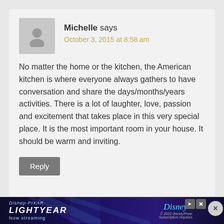Michelle says
October 3, 2015 at 8:58 am
No matter the home or the kitchen, the American kitchen is where everyone always gathers to have conversation and share the days/months/years activities. There is a lot of laughter, love, passion and excitement that takes place in this very special place. It is the most important room in your house. It should be warm and inviting.
Reply
[Figure (screenshot): Disney Pixar Lightyear advertisement banner — 'Now streaming' with character image and Disney+ logo]